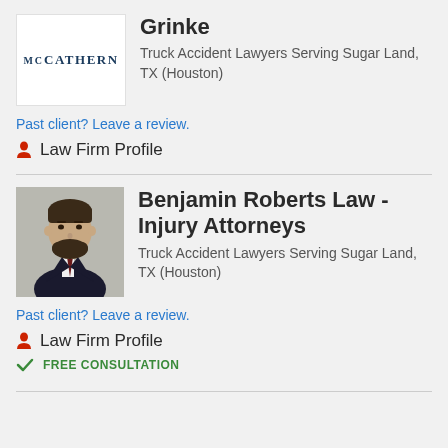[Figure (logo): McCathern law firm logo - text logo reading MCCATHERN in dark blue serif font]
Grinke
Truck Accident Lawyers Serving Sugar Land, TX (Houston)
Past client? Leave a review.
Law Firm Profile
[Figure (photo): Professional headshot of a man with a beard wearing a dark suit and tie]
Benjamin Roberts Law - Injury Attorneys
Truck Accident Lawyers Serving Sugar Land, TX (Houston)
Past client? Leave a review.
Law Firm Profile
FREE CONSULTATION